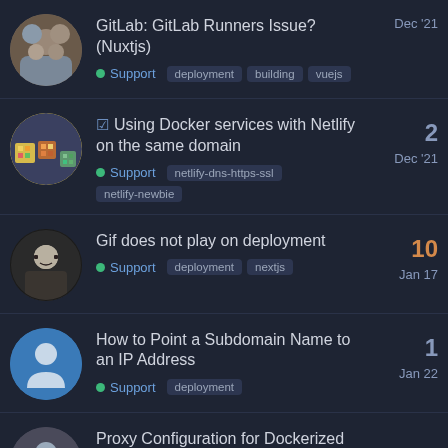GitLab: GitLab Runners Issue? (Nuxtjs) — Support — deployment, building, vuejs — Dec '21
✓ Using Docker services with Netlify on the same domain — Support — netlify-dns-https-ssl, netlify-newbie — Dec '21 — 2 replies
Gif does not play on deployment — Support — deployment, nextjs — Jan 17 — 10 replies
How to Point a Subdomain Name to an IP Address — Support — deployment — Jan 22 — 1 reply
Proxy Configuration for Dockerized…